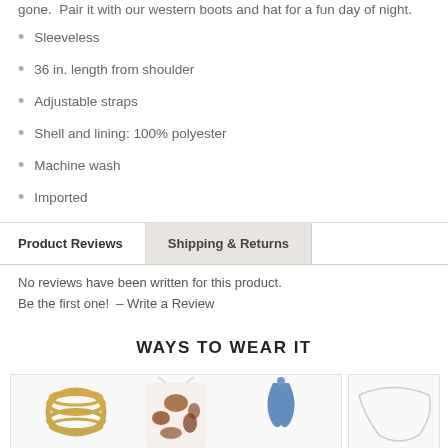gone. Pair it with our western boots and hat for a fun day of night.
Sleeveless
36 in. length from shoulder
Adjustable straps
Shell and lining: 100% polyester
Machine wash
Imported
Product Reviews | Shipping & Returns
No reviews have been written for this product.
Be the first one! – Write a Review
WAYS TO WEAR IT
[Figure (photo): Product collage showing a gold stacked ring, a cow-print sleeveless dress, and blue earrings arranged together as styling suggestion]